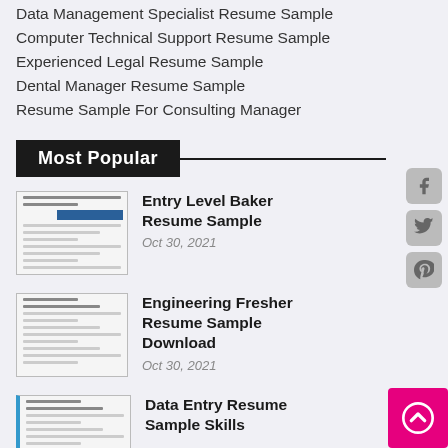Data Management Specialist Resume Sample
Computer Technical Support Resume Sample
Experienced Legal Resume Sample
Dental Manager Resume Sample
Resume Sample For Consulting Manager
Most Popular
[Figure (screenshot): Thumbnail of Entry Level Baker Resume Sample document]
Entry Level Baker Resume Sample
Oct 30, 2021
[Figure (screenshot): Thumbnail of Engineering Fresher Resume Sample Download document]
Engineering Fresher Resume Sample Download
Oct 30, 2021
[Figure (screenshot): Thumbnail of Data Entry Resume Sample Skills document]
Data Entry Resume Sample Skills